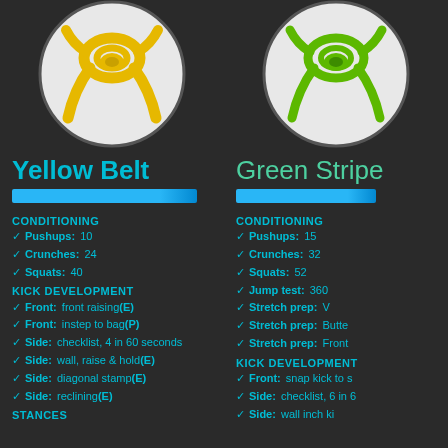[Figure (illustration): Yellow belt martial arts knot icon in a circular frame]
[Figure (illustration): Green stripe martial arts knot icon in a circular frame]
Yellow Belt
Green Stripe
CONDITIONING
Pushups: 10
Crunches: 24
Squats: 40
KICK DEVELOPMENT
Front: front raising (E)
Front: instep to bag (P)
Side: checklist, 4 in 60 seconds
Side: wall, raise & hold (E)
Side: diagonal stamp (E)
Side: reclining (E)
STANCES
CONDITIONING
Pushups: 15
Crunches: 32
Squats: 52
Jump test: 360
Stretch prep: V
Stretch prep: Butte
Stretch prep: Front
KICK DEVELOPMENT
Front: snap kick to s
Side: checklist, 6 in 6
Side: wall inch ki